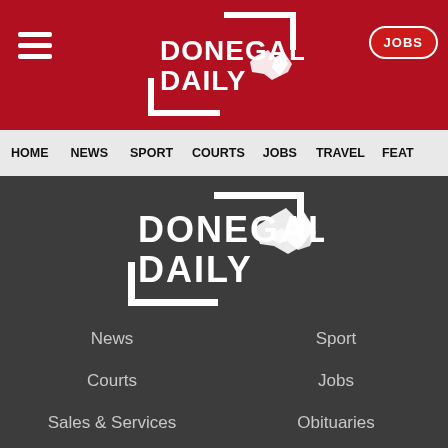Donegal Daily — header bar with logo, hamburger menu, and JOBS button
[Figure (logo): Donegal Daily logo — white bracket frame with map of Donegal and DONEGAL DAILY text, on red background]
HOME | NEWS | SPORT | COURTS | JOBS | TRAVEL | FEAT...
[Figure (logo): Donegal Daily logo large — white bracket frame with map of Donegal and DONEGAL DAILY text, on dark grey background]
News
Sport
Courts
Jobs
Sales & Services
Obituaries
Features
Business
Politics
Council News